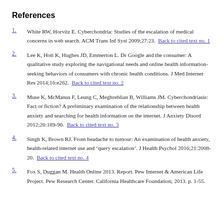References
1. White RW, Horvitz E. Cyberchondria: Studies of the escalation of medical concerns in web search. ACM Trans Inf Syst 2009;27:23.  Back to cited text no. 1
2. Lee K, Hoti K, Hughes JD, Emmerton L. Dr Google and the consumer: A qualitative study exploring the navigational needs and online health information-seeking behaviors of consumers with chronic health conditions. J Med Internet Res 2014;16:e262.  Back to cited text no. 2
3. Muse K, McManus F, Leung C, Meghreblian B, Williams JM. Cyberchondriasis: Fact or fiction? A preliminary examination of the relationship between health anxiety and searching for health information on the internet. J Anxiety Disord 2012;26:189-96.  Back to cited text no. 3
4. Singh K, Brown RJ. From headache to tumour: An examination of health anxiety, health-related internet use and 'query escalation'. J Health Psychol 2016;21:2008-20.  Back to cited text no. 4
5. Fox S, Duggan M. Health Online 2013. Report. Pew Internet & American Life Project. Pew Research Center. California Healthcare Foundation; 2013. p. 1-55.